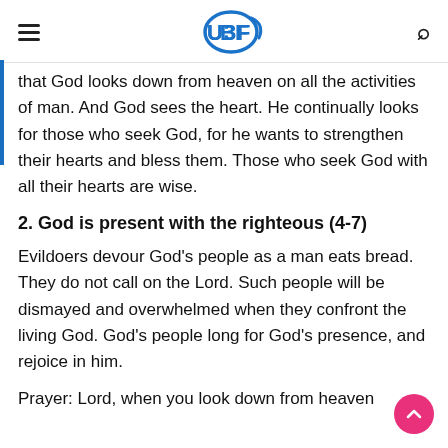UBF logo header with hamburger menu and search icon
that God looks down from heaven on all the activities of man. And God sees the heart. He continually looks for those who seek God, for he wants to strengthen their hearts and bless them. Those who seek God with all their hearts are wise.
2. God is present with the righteous (4-7)
Evildoers devour God's people as a man eats bread. They do not call on the Lord. Such people will be dismayed and overwhelmed when they confront the living God. God's people long for God's presence, and rejoice in him.
Prayer: Lord, when you look down from heaven...